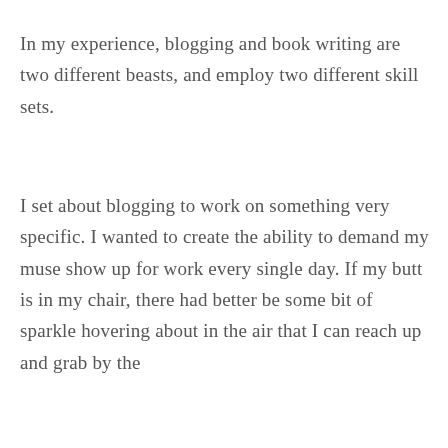In my experience, blogging and book writing are two different beasts, and employ two different skill sets.
I set about blogging to work on something very specific. I wanted to create the ability to demand my muse show up for work every single day. If my butt is in my chair, there had better be some bit of sparkle hovering about in the air that I can reach up and grab by the